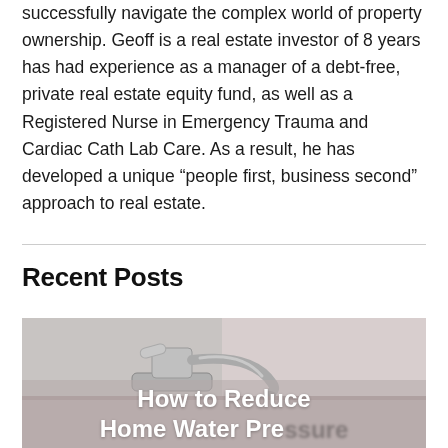successfully navigate the complex world of property ownership. Geoff is a real estate investor of 8 years has had experience as a manager of a debt-free, private real estate equity fund, as well as a Registered Nurse in Emergency Trauma and Cardiac Cath Lab Care. As a result, he has developed a unique “people first, business second” approach to real estate.
Recent Posts
[Figure (photo): Photo of a kitchen faucet with blurred background, overlaid with partial text 'How to Reduce Home Water Pre...' in white bold font on a semi-transparent strip]